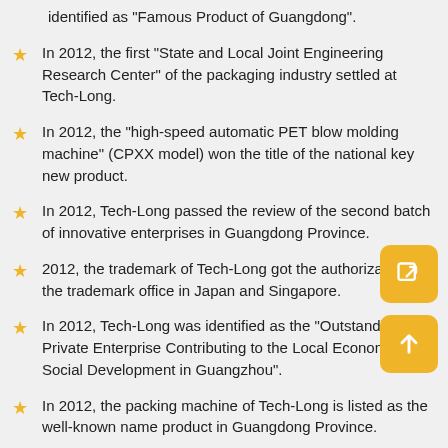identified as “Famous Product of Guangdong”.
In 2012, the first “State and Local Joint Engineering Research Center” of the packaging industry settled at Tech-Long.
In 2012, the “high-speed automatic PET blow molding machine” (CPXX model) won the title of the national key new product.
In 2012, Tech-Long passed the review of the second batch of innovative enterprises in Guangdong Province.
2012, the trademark of Tech-Long got the authorization of the trademark office in Japan and Singapore.
In 2012, Tech-Long was identified as the “Outstanding Private Enterprise Contributing to the Local Economic and Social Development in Guangzhou”.
In 2012, the packing machine of Tech-Long is listed as the well-known name product in Guangdong Province.
In 2012, Tech-Long was awarded the AA level Enterprise of